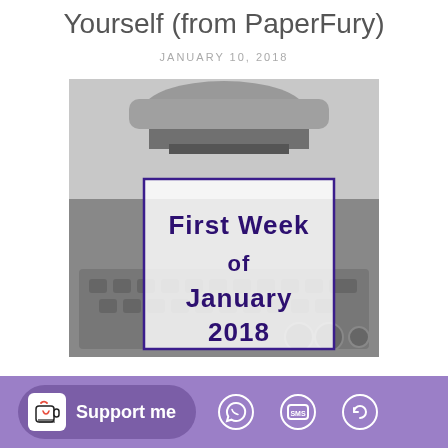Yourself (from PaperFury)
JANUARY 10, 2018
[Figure (photo): Grayscale photo of a typewriter with an overlaid purple-bordered box containing the text 'First Week of January 2018' in bold dark purple font.]
Support me